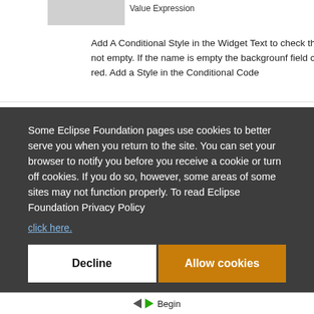[Figure (screenshot): Partial screenshot of Eclipse IDE/tool interface showing 'Value Expression' label and a yellow button partially visible at top right, with a gray image placeholder at top left]
Add A Conditional Style in the Widget Text to check the name is not empty. If the name is empty the backgrounf field change to red. Add a Style in the Conditional Code
Some Eclipse Foundation pages use cookies to better serve you when you return to the site. You can set your browser to notify you before you receive a cookie or turn off cookies. If you do so, however, some areas of some sites may not function properly. To read Eclipse Foundation Privacy Policy click here.
Decline
Allow cookies
Begin